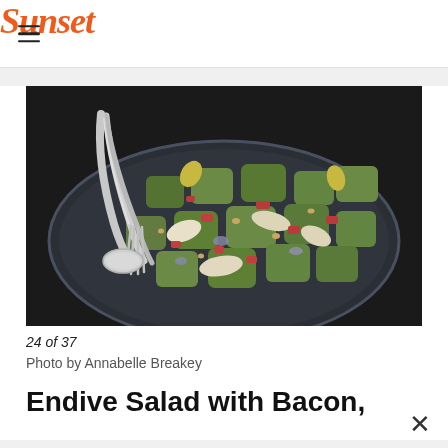Sunset
[Figure (photo): A bowl of endive salad with avocado chunks, crispy bacon bits, and blue cheese on a dark background, served with silver salad tongs]
24 of 37
Photo by Annabelle Breakey
Endive Salad with Bacon,